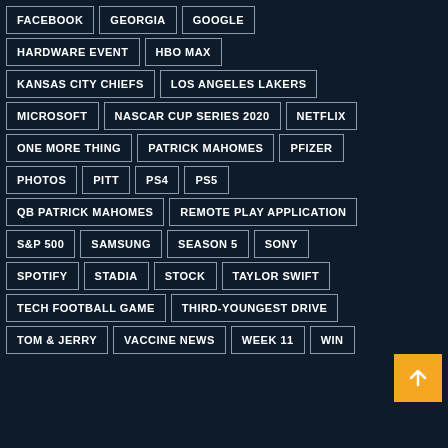FACEBOOK
GEORGIA
GOOGLE
HARDWARE EVENT
HBO MAX
KANSAS CITY CHIEFS
LOS ANGELES LAKERS
MICROSOFT
NASCAR CUP SERIES 2020
NETFLIX
ONE MORE THING
PATRICK MAHOMES
PFIZER
PHOTOS
PITT
PS4
PS5
QB PATRICK MAHOMES
REMOTE PLAY APPLICATION
S&P 500
SAMSUNG
SEASON 5
SONY
SPOTIFY
STADIA
STOCK
TAYLOR SWIFT
TECH FOOTBALL GAME
THIRD-YOUNGEST DRIVE
TOM & JERRY
VACCINE NEWS
WEEK 11
WIN